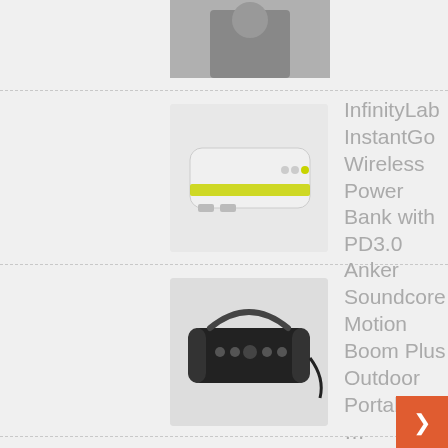[Figure (photo): Partial image of a person, cropped at top of page]
InfinityLab InstantGo Wireless Power Bank with PD3.0
Anker Soundcore Motion Boom Plus Outdoor Portable …
Sony LinkBuds S Truly Wireless Noise Cancelling …